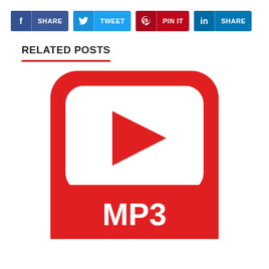[Figure (infographic): Social share buttons: Facebook SHARE (dark blue), Twitter TWEET (light blue), Pinterest PIN IT (dark red), LinkedIn SHARE (teal blue)]
RELATED POSTS
[Figure (logo): YouTube to MP3 converter icon: red rounded square with white rounded rectangle containing a red play triangle, and MP3 text in white at the bottom]